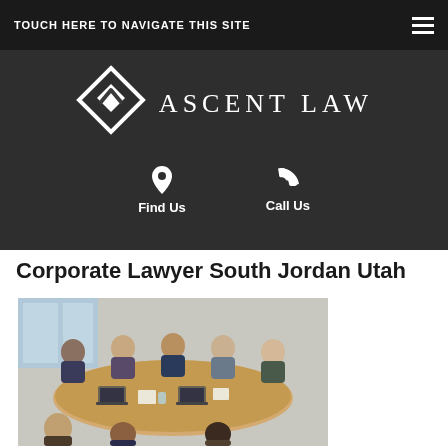TOUCH HERE TO NAVIGATE THIS SITE
[Figure (logo): Ascent Law logo with diamond/chevron icon and text 'ASCENT LAW' on dark background, with Find Us and Call Us contact links below]
Corporate Lawyer South Jordan Utah
[Figure (photo): Business meeting photo: diverse group of professionals seated around a conference table with laptops and documents]